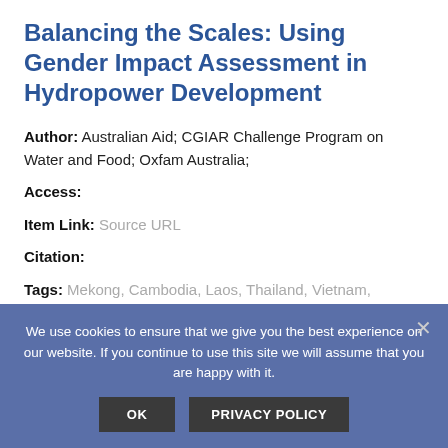Balancing the Scales: Using Gender Impact Assessment in Hydropower Development
Author: Australian Aid; CGIAR Challenge Program on Water and Food; Oxfam Australia;
Access:
Item Link: Source URL
Citation:
Tags: Mekong, Cambodia, Laos, Thailand, Vietnam,
We use cookies to ensure that we give you the best experience on our website. If you continue to use this site we will assume that you are happy with it.